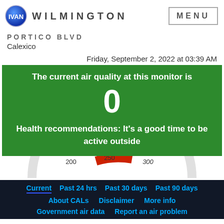IVAN WILMINGTON
PORTICO BLVD
Calexico
Friday, September 2, 2022 at 03:39 AM
[Figure (infographic): Green air quality box showing AQI of 0 with text: The current air quality at this monitor is 0. Health recommendations: It's a good time to be active outside]
[Figure (continuous-plot): Partial gauge/meter showing scale with values 200, 250, 300 and red needle area visible at bottom of white section]
Current  Past 24 hrs  Past 30 days  Past 90 days  About CALs  Disclaimer  More info  Government air data  Report an air problem